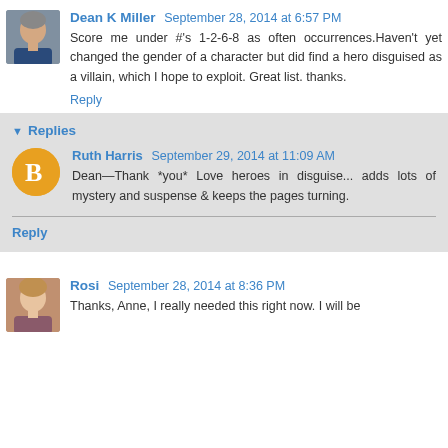Dean K Miller September 28, 2014 at 6:57 PM
Score me under #'s 1-2-6-8 as often occurrences.Haven't yet changed the gender of a character but did find a hero disguised as a villain, which I hope to exploit. Great list. thanks.
Reply
Replies
Ruth Harris September 29, 2014 at 11:09 AM
Dean—Thank *you* Love heroes in disguise... adds lots of mystery and suspense & keeps the pages turning.
Reply
Rosi September 28, 2014 at 8:36 PM
Thanks, Anne, I really needed this right now. I will be